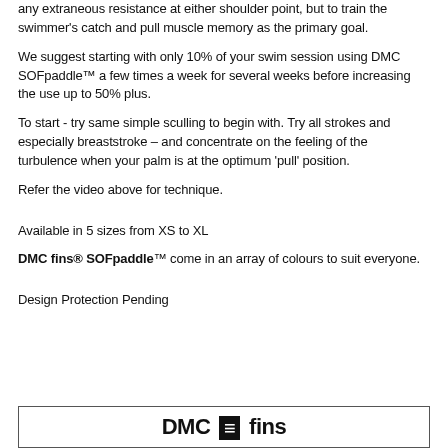any extraneous resistance at either shoulder point, but to train the swimmer's catch and pull muscle memory as the primary goal.
We suggest starting with only 10% of your swim session using DMC SOFpaddle™ a few times a week for several weeks before increasing the use up to 50% plus.
To start - try same simple sculling to begin with. Try all strokes and especially breaststroke – and concentrate on the feeling of the turbulence when your palm is at the optimum 'pull' position.
Refer the video above for technique.
Available in 5 sizes from XS to XL
DMC fins® SOFpaddle™ come in an array of colours to suit everyone.
Design Protection Pending
[Figure (logo): DMC fins logo in a bordered rectangle]